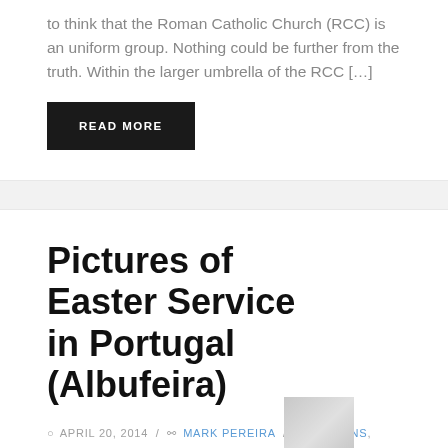to think that the Roman Catholic Church (RCC) is an uniform group. Nothing could be further from the truth. Within the larger umbrella of the RCC […]
READ MORE
Pictures of Easter Service in Portugal (Albufeira)
APRIL 20, 2014 / MARK PEREIRA / MISSIONS, PORTUGAL / 2 COMMENTS